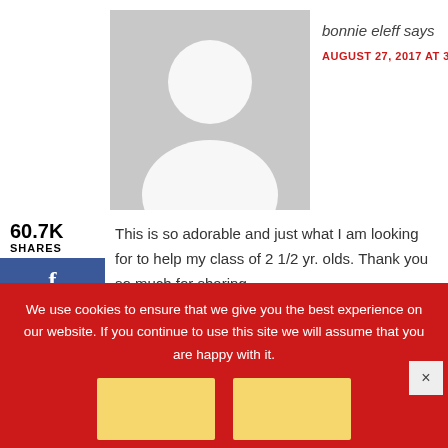[Figure (photo): Gray placeholder avatar silhouette image]
bonnie eleff says
AUGUST 27, 2017 AT 3:19 PM
60.7K
SHARES
[Figure (infographic): Social share buttons: Facebook (32), Twitter (1), Pinterest (60.7K)]
This is so adorable and just what I am looking for to help my class of 2 1/2 yr. olds. Thank you so much for sharing.
Reply
We use cookies to ensure that we give you the best experience on our website. If you continue to use this site we will assume that you are happy with it.